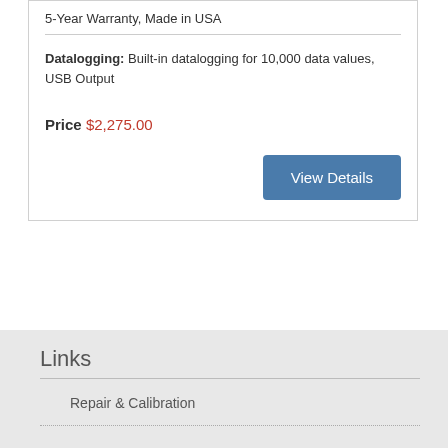5-Year Warranty, Made in USA
Datalogging: Built-in datalogging for 10,000 data values, USB Output
Price $2,275.00
View Details
Links
Repair & Calibration